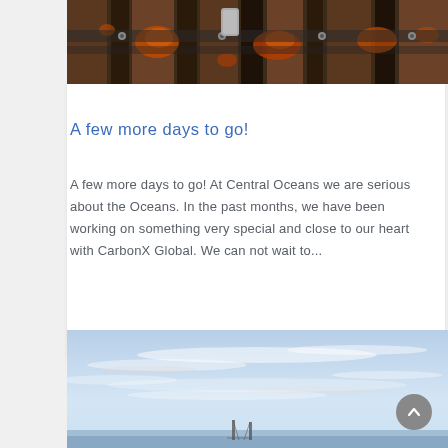[Figure (photo): Close-up photo of rusty industrial railroad ties or structural metal beams with orange rust and bolts, viewed from above]
A few more days to go!
A few more days to go! At Central Oceans we are serious about the Oceans. In the past months, we have been working on something very special and close to our heart with CarbonX Global. We can not wait to...
[Figure (photo): Wide landscape photo of a sky with wispy clouds and a bridge visible at the bottom, likely a coastal or bay area scene]